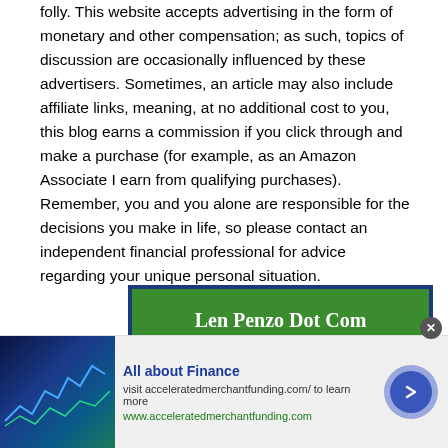folly. This website accepts advertising in the form of monetary and other compensation; as such, topics of discussion are occasionally influenced by these advertisers. Sometimes, an article may also include affiliate links, meaning, at no additional cost to you, this blog earns a commission if you click through and make a purchase (for example, as an Amazon Associate I earn from qualifying purchases). Remember, you and you alone are responsible for the decisions you make in life, so please contact an independent financial professional for advice regarding your unique personal situation.
[Figure (infographic): Green signup box with dark blue border reading 'Len Penzo Dot Com Delivered Weekly' with an email address input field]
[Figure (infographic): Advertisement bar at bottom: stock chart image on left, 'All about Finance' title in blue, visit acceleratedmerchantfunding.com/ to learn more, www.acceleratedmerchantfunding.com in green, arrow button on right]